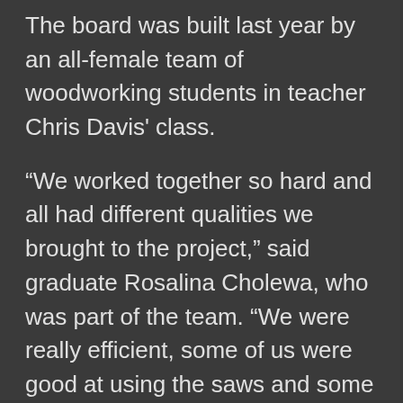The board was built last year by an all-female team of woodworking students in teacher Chris Davis' class.

"We worked together so hard and all had different qualities we brought to the project," said graduate Rosalina Cholewa, who was part of the team. "We were really efficient, some of us were good at using the saws and some were great at using epoxy and gluing all the pieces together. We worked as a team and needed